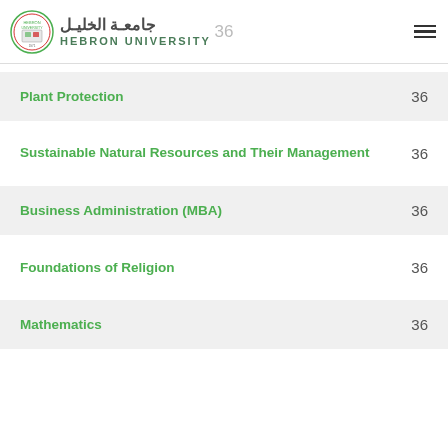جامعة الخليل / HEBRON UNIVERSITY | 36
Plant Protection — 36
Sustainable Natural Resources and Their Management — 36
Business Administration (MBA) — 36
Foundations of Religion — 36
Mathematics — 36